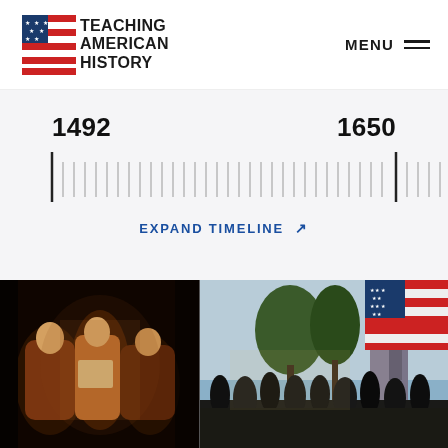[Figure (logo): Teaching American History logo with American flag graphic and bold text: TEACHING AMERICAN HISTORY]
MENU
[Figure (infographic): Historical timeline ruler showing date markers from 1492 to 1650 with tick marks, on a light gray background. Includes 'EXPAND TIMELINE' link with expand arrow icon.]
[Figure (photo): Two historical paintings side by side: left shows founding fathers or colonial figures in discussion; right shows a street scene with an American flag and church steeple in background.]